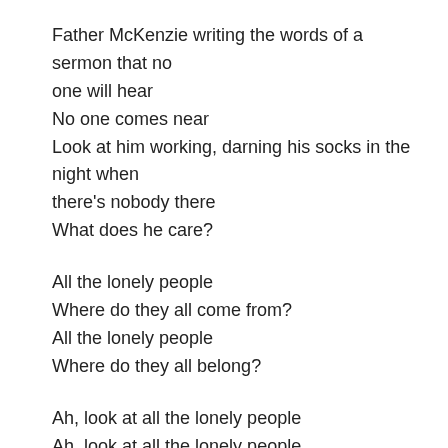Father McKenzie writing the words of a sermon that no one will hear
No one comes near
Look at him working, darning his socks in the night when there's nobody there
What does he care?
All the lonely people
Where do they all come from?
All the lonely people
Where do they all belong?
Ah, look at all the lonely people
Ah, look at all the lonely people
Eleanor Rigby died in the church and was buried along with her name
Nobody came